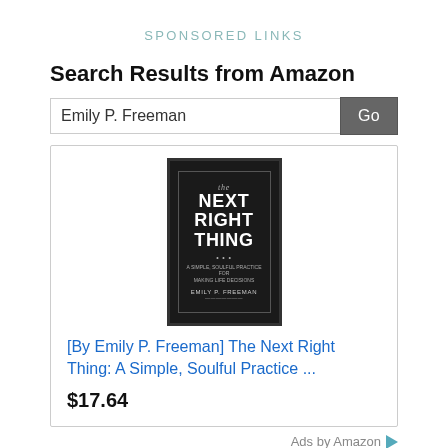SPONSORED LINKS
Search Results from Amazon
Emily P. Freeman  Go
[Figure (photo): Book cover for 'The Next Right Thing' by Emily P. Freeman, dark/black background with white text]
[By Emily P. Freeman] The Next Right Thing: A Simple, Soulful Practice ...
$17.64
Ads by Amazon